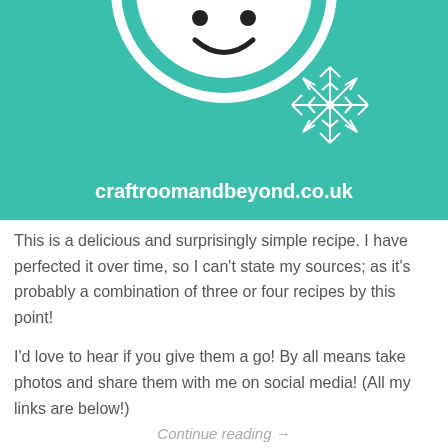[Figure (illustration): Teal/green branded banner for craftroomandbeyond.co.uk with a white circular logo at the top (partially cropped), a white decorative snowflake on the right side, and the website URL 'craftroomandbeyond.co.uk' in white text centered at the bottom of the banner.]
This is a delicious and surprisingly simple recipe. I have perfected it over time, so I can't state my sources; as it's probably a combination of three or four recipes by this point!
I'd love to hear if you give them a go! By all means take photos and share them with me on social media! (All my links are below!)
Continue reading →